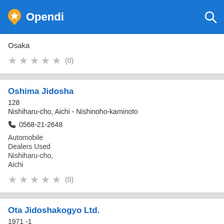Opendi
Osaka
★ ★ ★ ★ ★ (0)
Oshima Jidosha
128
Nishiharu-cho, Aichi - Nishinoho-kaminoto
0568-21-2648
Automobile
Dealers Used
Nishiharu-cho,
Aichi
★ ★ ★ ★ ★ (0)
Ota Jidoshakogyo Ltd.
1971 -1
Taishi-cho, Hyogo - Ota